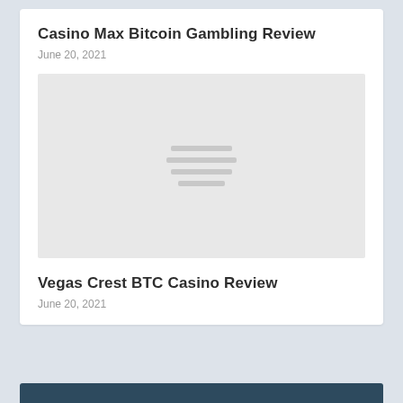Casino Max Bitcoin Gambling Review
June 20, 2021
[Figure (illustration): Gray placeholder image with three horizontal lines icon in the center]
Vegas Crest BTC Casino Review
June 20, 2021